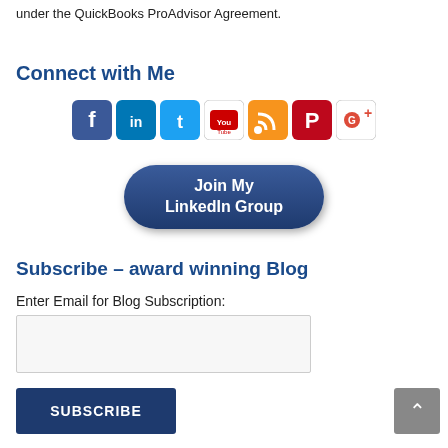under the QuickBooks ProAdvisor Agreement.
Connect with Me
[Figure (other): Row of social media icons: Facebook, LinkedIn, Twitter, YouTube, RSS, Pinterest, Google+]
[Figure (other): Dark blue rounded button with text 'Join My LinkedIn Group']
Subscribe – award winning Blog
Enter Email for Blog Subscription:
[Figure (other): Email input text field]
[Figure (other): Dark blue SUBSCRIBE button]
E-mail addresses are kept confidential.